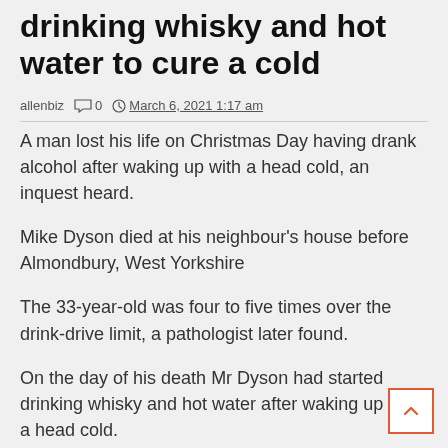drinking whisky and hot water to cure a cold
allenbiz  0  March 6, 2021 1:17 am
A man lost his life on Christmas Day having drank alcohol after waking up with a head cold, an inquest heard.
Mike Dyson died at his neighbour's house before Almondbury, West Yorkshire
The 33-year-old was four to five times over the drink-drive limit, a pathologist later found.
On the day of his death Mr Dyson had started drinking whisky and hot water after waking up with a head cold.
The quality control inspector went with his family to a